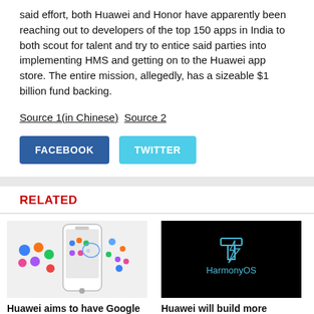said effort, both Huawei and Honor have apparently been reaching out to developers of the top 150 apps in India to both scout for talent and try to entice said parties into implementing HMS and getting on to the Huawei app store. The entire mission, allegedly, has a sizeable $1 billion fund backing.
Source 1(in Chinese) Source 2
FACEBOOK  TWITTER
RELATED
[Figure (photo): Huawei phone with app icons - light background]
Huawei aims to have Google apps alternatives ready by
[Figure (photo): HarmonyOS logo on black background]
Huawei will build more HarmonyOS devices next year and sell
[Figure (photo): Dark background with partial text EM...]
Stable El... more Hu... Honor ph...